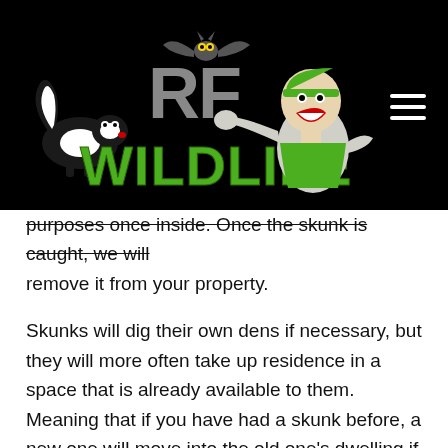[Figure (logo): RF Wildlife logo on black background with cartoon skunk, bat, and muscular man pointing, with green 'RF WILDLIFE' text]
purposes once inside. Once the skunk is caught, we will remove it from your property.

Skunks will dig their own dens if necessary, but they will more often take up residence in a space that is already available to them. Meaning that if you have had a skunk before, a new one will move into the old one's dwelling if it finds it. Obstruct access to such areas to avert new arrivals from staying. As unadulterated omnivores, they will